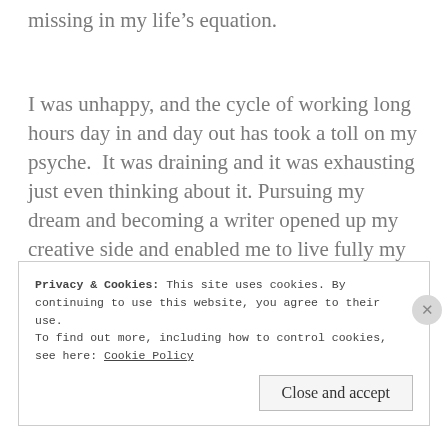missing in my life's equation.
I was unhappy, and the cycle of working long hours day in and day out has took a toll on my psyche.  It was draining and it was exhausting just even thinking about it. Pursuing my dream and becoming a writer opened up my creative side and enabled me to live fully my purpose with zest and passion.
Privacy & Cookies: This site uses cookies. By continuing to use this website, you agree to their use.
To find out more, including how to control cookies, see here: Cookie Policy
Close and accept